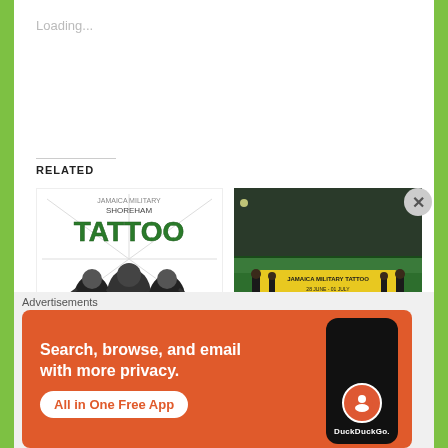Loading...
RELATED
[Figure (photo): Black and white graphic image with 'TATTOO' text in large green letters, with illustrated military figures below]
Jamaica Military Tattoo 2012: Canada, Guyana, Bermuda, Trinidad, England, China, Jamaica Military and Constabular...
[Figure (photo): Photo of soldiers on a field holding a yellow banner that reads 'Jamaica Military Tattoo']
Jamaica Military Tattoo 2012: A yahso so nice, Granny
July 2, 2012
In "Articles"
Advertisements
[Figure (screenshot): DuckDuckGo advertisement banner with orange background. Text reads: 'Search, browse, and email with more privacy. All in One Free App'. Shows a phone graphic with DuckDuckGo logo.]